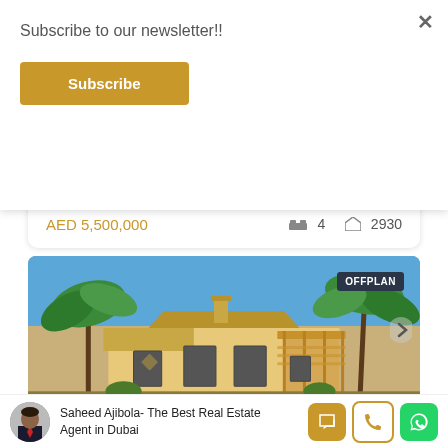Subscribe to our newsletter!!
Subscribe
MAG City Meydan – Luxurious Affordable Place
AED 5,500,000  4  2930
[Figure (photo): Exterior photo of a Mediterranean-style villa with palm trees and blue sky, tagged OFFPLAN]
Saheed Ajibola- The Best Real Estate Agent in Dubai